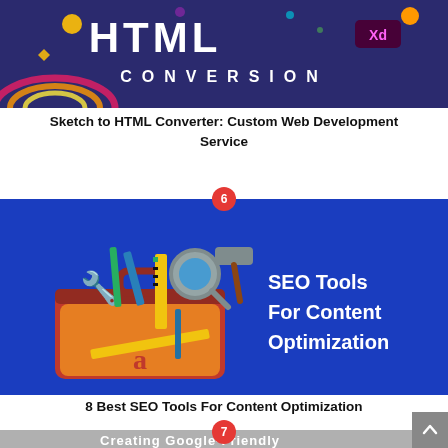[Figure (illustration): Dark purple/navy banner with large white 'HTML' text and 'CONVERSION' below it. Adobe XD logo visible at top right. Decorative geometric and rainbow arc elements on the left.]
Sketch to HTML Converter: Custom Web Development Service
[Figure (illustration): Blue banner showing a cartoon orange toolbox filled with tools (wrench, ruler, magnifying glass, hammer, etc.) on the left, and bold white text 'SEO Tools For Content Optimization' on the right.]
8 Best SEO Tools For Content Optimization
[Figure (illustration): Partial bottom banner showing blurred background with bold white text 'Creating Google-Friendly' partially visible.]